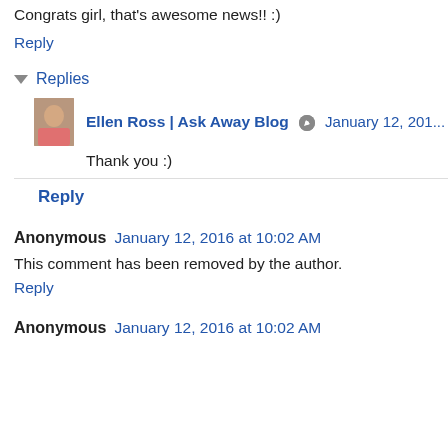Congrats girl, that's awesome news!! :)
Reply
Replies
Ellen Ross | Ask Away Blog  January 12, 201...
Thank you :)
Reply
Anonymous  January 12, 2016 at 10:02 AM
This comment has been removed by the author.
Reply
Anonymous  January 12, 2016 at 10:02 AM